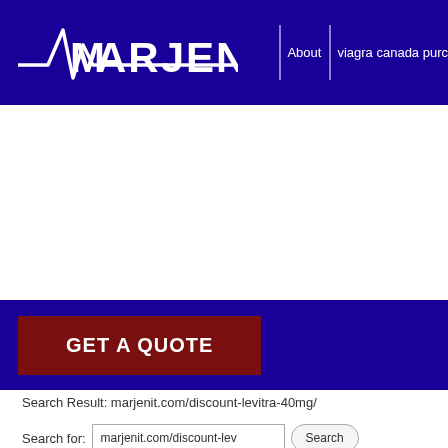[Figure (logo): Marjen logo with EKG/heartbeat line graphic and white text 'MARJEN' on dark navy blue header bar]
About | viagra canada purc
GET A QUOTE
Search Result: marjenit.com/discount-levitra-40mg/
Search for: marjenit.com/discount-lev  Search